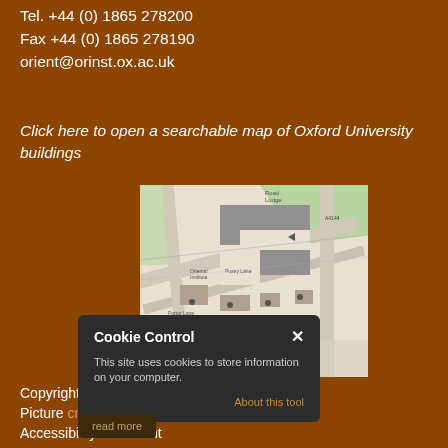Tel. +44 (0) 1865 278200
Fax +44 (0) 1865 278190
orient@orinst.ox.ac.uk
Click here to open a searchable map of Oxford University buildings
[Figure (map): Street map showing Oxford University buildings area, displayed as an angled aerial/plan view with buildings in grey, roads, and green spaces. Labels visible include Road Lodge and A4144.]
Cookie Control
This site uses cookies to store information on your computer.
About this tool
read more
Copyright
Picture credits
Accessibility statement